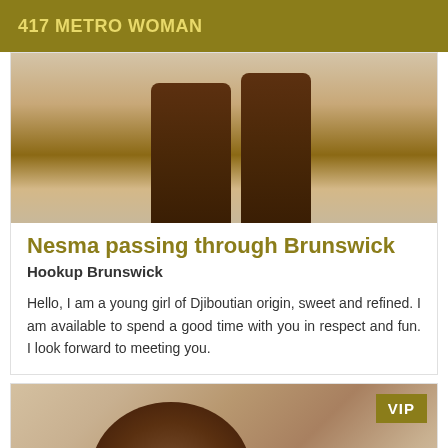417 METRO WOMAN
[Figure (photo): Close-up photo of a person's legs standing on a tiled floor]
Nesma passing through Brunswick
Hookup Brunswick
Hello, I am a young girl of Djiboutian origin, sweet and refined. I am available to spend a good time with you in respect and fun. I look forward to meeting you.
[Figure (photo): Photo of a woman with long curly hair wearing a white top, smiling]